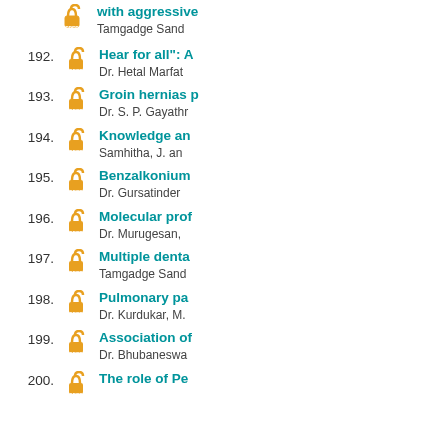with aggressive... Tamgadge Sand...
192. Hear for all": A... Dr. Hetal Marfat...
193. Groin hernias p... Dr. S. P. Gayathr...
194. Knowledge an... Samhitha, J. an...
195. Benzalkonium... Dr. Gursatinder...
196. Molecular prof... Dr. Murugesan,...
197. Multiple denta... Tamgadge Sand...
198. Pulmonary pa... Dr. Kurdukar, M....
199. Association of... Dr. Bhubaneswa...
200. The role of Pe...